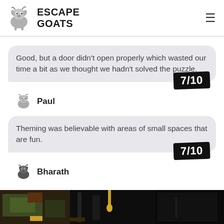ESCAPE GOATS
Good, but a door didn't open properly which wasted our time a bit as we thought we hadn't solved the puzzle.
Paul — 7/10
Theming was believable with areas of small spaces that are fun.
Bharath — 7/10
[Figure (photo): Dark interior photo of an escape room showing themed props and decorations]